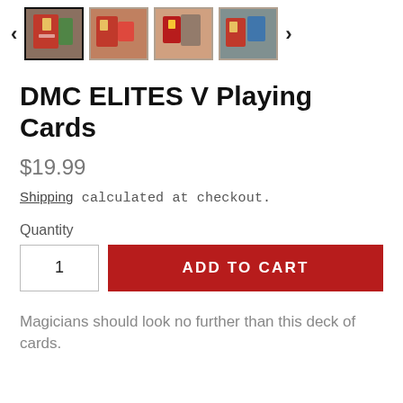[Figure (screenshot): Thumbnail strip with four product images and left/right navigation arrows. First image is selected (has border). Images show playing card deck in red packaging.]
DMC ELITES V Playing Cards
$19.99
Shipping calculated at checkout.
Quantity
1
ADD TO CART
Magicians should look no further than this deck of cards.